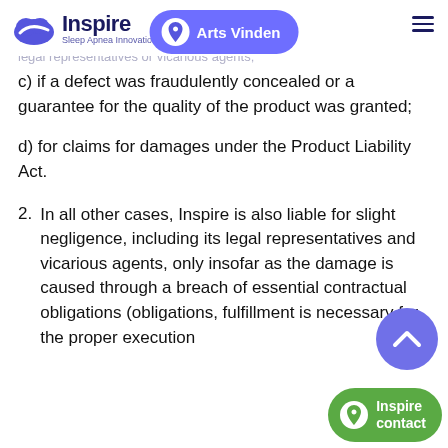Inspire Sleep Apnea Innovation — Arts Vinden navigation
b) for other damages based on an intentional or negligent breach by Inspire legal representatives or vicarious agents;
c) if a defect was fraudulently concealed or a guarantee for the quality of the product was granted;
d) for claims for damages under the Product Liability Act.
2. In all other cases, Inspire is also liable for slight negligence, including its legal representatives and vicarious agents, only insofar as the damage is caused through a breach of essential contractual obligations (obligations, fulfillment is necessary for the proper execution